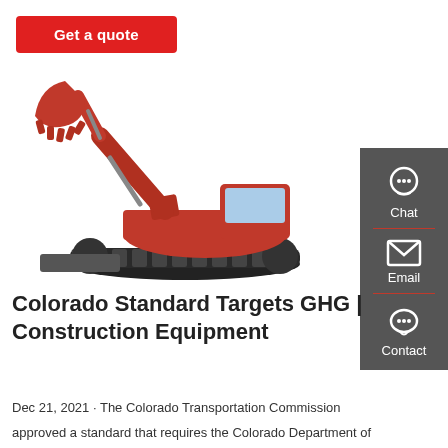[Figure (other): Red 'Get a quote' button with white text on a red rounded rectangle background]
[Figure (photo): Red/orange compact excavator (mini excavator) with raised arm and bucket, on a white background]
[Figure (other): Dark gray sidebar with Chat (headset icon), Email (envelope icon), and Contact (speech bubble icon) buttons separated by red dividers]
Colorado Standard Targets GHG | Construction Equipment
Dec 21, 2021 · The Colorado Transportation Commission
approved a standard that requires the Colorado Department of